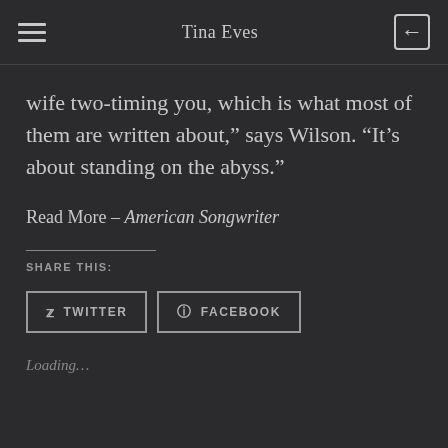Tina Eves
wife two-timing you, which is what most of them are written about,” says Wilson. “It’s about standing on the abyss.”
Read More – American Songwriter
SHARE THIS:
TWITTER
FACEBOOK
Loading…